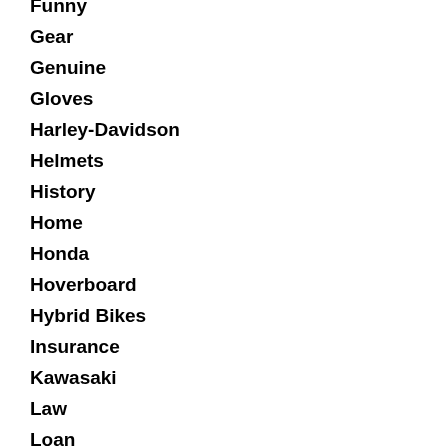Funny
Gear
Genuine
Gloves
Harley-Davidson
Helmets
History
Home
Honda
Hoverboard
Hybrid Bikes
Insurance
Kawasaki
Law
Loan
Minibus